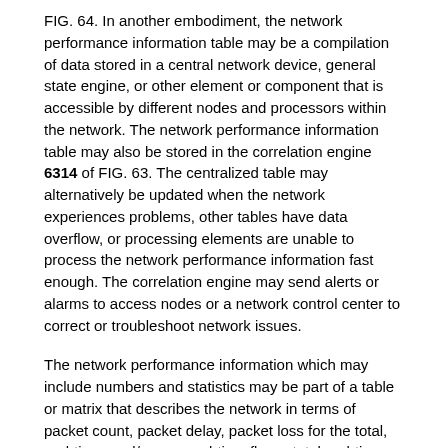FIG. 64. In another embodiment, the network performance information table may be a compilation of data stored in a central network device, general state engine, or other element or component that is accessible by different nodes and processors within the network. The network performance information table may also be stored in the correlation engine 6314 of FIG. 63. The centralized table may alternatively be updated when the network experiences problems, other tables have data overflow, or processing elements are unable to process the network performance information fast enough. The correlation engine may send alerts or alarms to access nodes or a network control center to correct or troubleshoot network issues.
The network performance information which may include numbers and statistics may be part of a table or matrix that describes the network in terms of packet count, packet delay, packet loss for the total, real-time, and/or non-real-time flows, total real-time, and non-real-time bandwidth, effective packet rate, jitter, latency, out-of-order packets, quality of service, carrier identification, or other parameters 6500 that describes the important characteristics of the